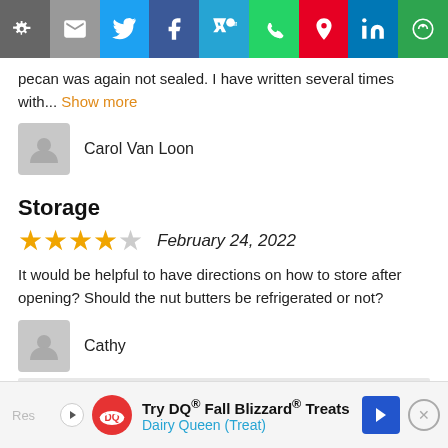[Figure (infographic): Social share button bar with icons: link, email, Twitter, Facebook, SMS, WhatsApp, Pinterest, LinkedIn, and another share option]
pecan was again not sealed. I have written several times with... Show more
Carol Van Loon
Storage
[Figure (infographic): 4 out of 5 star rating]
February 24, 2022
It would be helpful to have directions on how to store after opening? Should the nut butters be refrigerated or not?
Cathy
[Figure (infographic): Dairy Queen advertisement: Try DQ® Fall Blizzard® Treats — Dairy Queen (Treat)]